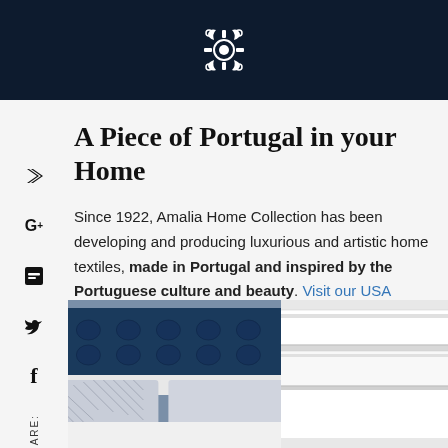Amalia Home Collection logo
A Piece of Portugal in your Home
Since 1922, Amalia Home Collection has been developing and producing luxurious and artistic home textiles, made in Portugal and inspired by the Portuguese culture and beauty. Visit our USA Online Store and discover our premium bedding collections.
[Figure (photo): Bedroom scene with navy blue tufted headboard, decorative pillows with geometric pattern, and white bedding on the left; white folded bed linens on the right]